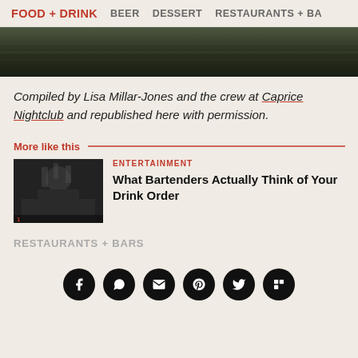FOOD + DRINK   BEER   DESSERT   RESTAURANTS + BA
[Figure (photo): Dark, blurry landscape/water photo strip used as hero image]
Compiled by Lisa Millar-Jones and the crew at Caprice Nightclub and republished here with permission.
More like this
[Figure (photo): Photo of a bartender in dark clothing behind a bar with bottles]
ENTERTAINMENT
What Bartenders Actually Think of Your Drink Order
RESTAURANTS + BARS
[Figure (infographic): Social sharing icons row: Facebook, WhatsApp, Email, Pinterest, Twitter, Flipboard]